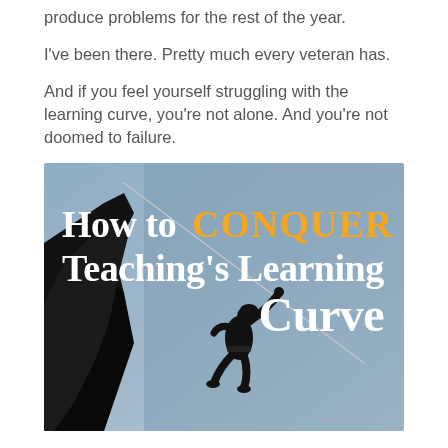produce problems for the rest of the year.
I’ve been there. Pretty much every veteran has.
And if you feel yourself struggling with the learning curve, you’re not alone. And you’re not doomed to failure.
[Figure (illustration): Silhouette of a rock climber scaling a cliff face against a grey-blue sky background, with bold text overlay reading 'How to CONQUER Teaching’s Learning Curve'. 'CONQUER' is in orange bold font, the rest is in white bold font.]